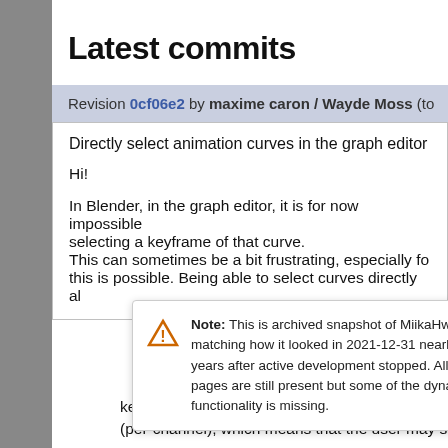Latest commits
Revision 0cf06e2 by maxime caron / Wayde Moss (to
Directly select animation curves in the graph editor

Hi!

In Blender, in the graph editor, it is for now impossible... selecting a keyframe of that curve.
This can sometimes be a bit frustrating, especially fo...
this is possible. Being able to select curves directly al...
Note: This is archived snapshot of MiikaHweb, matching how it looked in 2021-12-31 nearly 10 years after active development stopped. All pages are still present but some of the dynamic functionality is missing.
keyframe could be found, then it was selecting the c... (per-channel), which means that the user may select...